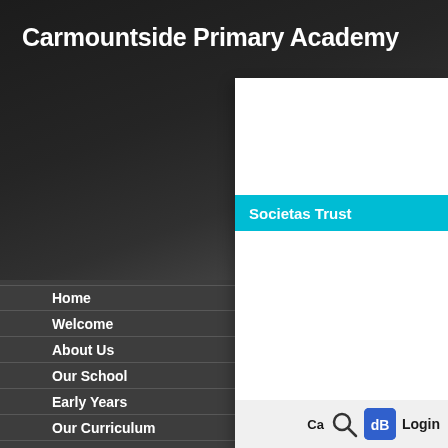Carmountside Primary Academy
Home
Welcome
About Us
Our School
Early Years
Our Curriculum
Societas Trust
Ca
Login